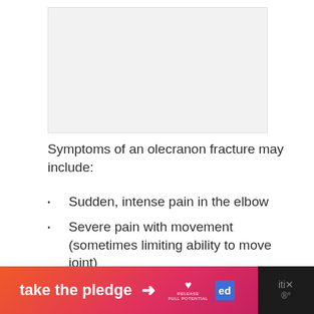[Figure (photo): Image placeholder area at the top of the page (light gray box)]
Symptoms of an olecranon fracture may include:
Sudden, intense pain in the elbow
Severe pain with movement (sometimes limiting ability to move joint)
Numbness in one or more fingers
Bruising and/or swelling around elbow tip
[Figure (infographic): Advertisement banner at the bottom: 'take the pledge' with arrow, Release logo, and ed box logo on pink-to-red gradient background with black bar on right]